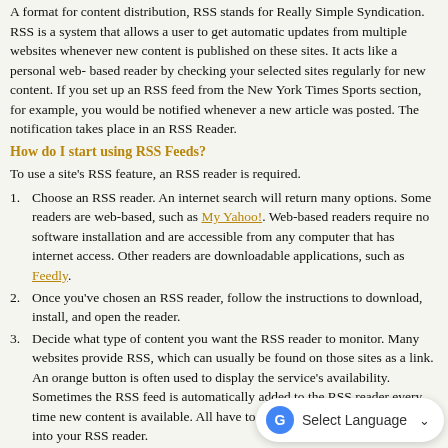A format for content distribution, RSS stands for Really Simple Syndication. RSS is a system that allows a user to get automatic updates from multiple websites whenever new content is published on these sites. It acts like a personal web-based reader by checking your selected sites regularly for new content. If you set up an RSS feed from the New York Times Sports section, for example, you would be notified whenever a new article was posted. The notification takes place in an RSS Reader.
How do I start using RSS Feeds?
To use a site's RSS feature, an RSS reader is required.
1. Choose an RSS reader. An internet search will return many options. Some readers are web-based, such as My Yahoo!. Web-based readers require no software installation and are accessible from any computer that has internet access. Other readers are downloadable applications, such as Feedly.
2. Once you've chosen an RSS reader, follow the instructions to download, install, and open the reader.
3. Decide what type of content you want the RSS reader to monitor. Many websites provide RSS, which can usually be found on those sites as a link. An orange button is often used to display the service's availability. Sometimes the RSS feed is automatically added to the RSS reader every time new content is available. All have to click the RSS link and copy it into your RSS reader.